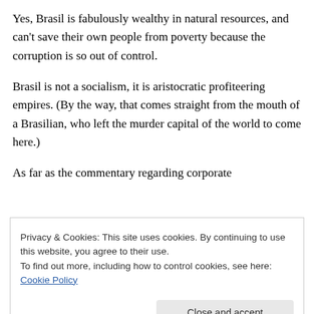Yes, Brasil is fabulously wealthy in natural resources, and can't save their own people from poverty because the corruption is so out of control.
Brasil is not a socialism, it is aristocratic profiteering empires. (By the way, that comes straight from the mouth of a Brasilian, who left the murder capital of the world to come here.)
As far as the commentary regarding corporate
Privacy & Cookies: This site uses cookies. By continuing to use this website, you agree to their use.
To find out more, including how to control cookies, see here: Cookie Policy
owned by a conglomerate of Dutch corporate